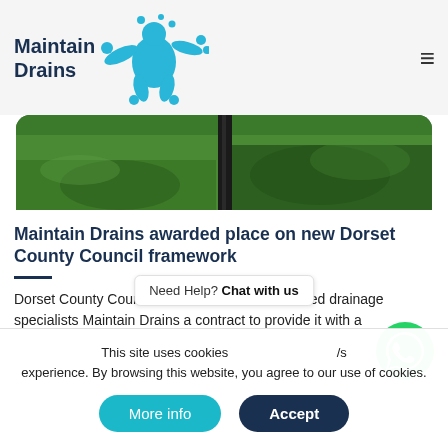[Figure (logo): Maintain Drains logo with blue splat figure and text 'Maintain Drains']
[Figure (photo): Outdoor grass scene with a dark metal post/drain pipe in green lawn area]
Maintain Drains awarded place on new Dorset County Council framework
Dorset County Council has awarded Dorset based drainage specialists Maintain Drains a contract to provide it with a
This site uses cookies
Need Help? Chat with us
experience. By browsing this website, you agree to our use of cookies.
More info
Accept